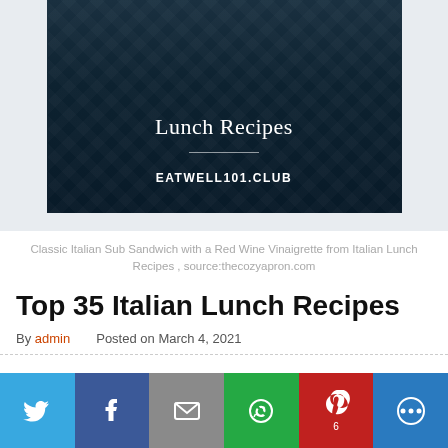[Figure (illustration): Dark teal/navy decorative background with diamond pattern. Shows 'Lunch Recipes' text in serif font at top, a horizontal divider line, and 'EATWELL101.CLUB' in bold white text below. Partial view of an Italian Lunch Recipes promotional image.]
Classic Italian Sub Sandwich with a Red Wine Vinaigrette from Italian Lunch Recipes , source:thecozyapron.com
Top 35 Italian Lunch Recipes
By admin   Posted on March 4, 2021
[Figure (infographic): Social media sharing bar with 6 buttons: Twitter (blue), Facebook (dark blue), Email (gray), WhatsApp (green), Pinterest (red, showing count 6), More/share (blue)]